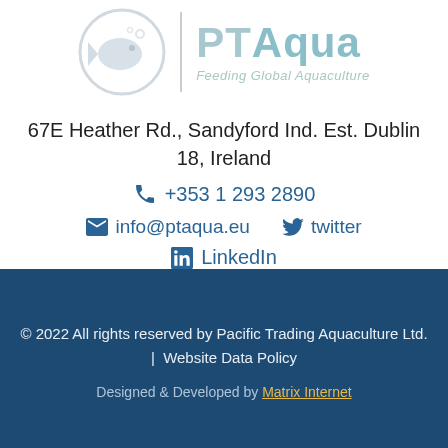[Figure (logo): PTAqua logo with fish circle graphic, vertical divider, PTAqua text and tagline 'Feeding Global Aquaculture']
67E Heather Rd., Sandyford Ind. Est. Dublin 18, Ireland
+353 1 293 2890
info@ptaqua.eu   twitter
LinkedIn
© 2022 All rights reserved by Pacific Trading Aquaculture Ltd.
| Website Data Policy
Designed & Developed by Matrix Internet